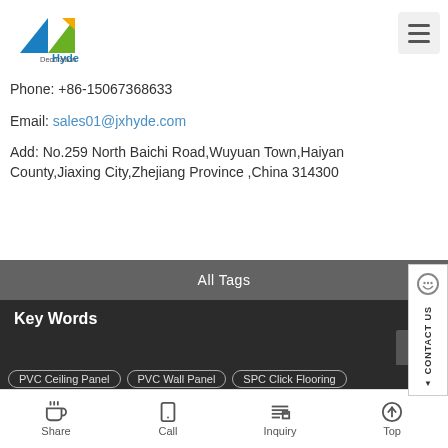[Figure (logo): Hyde Decoration company logo with blue and green geometric shapes]
Phone: +86-15067368633
Email: sales01@jxhyde.com
Add: No.259 North Baichi Road,Wuyuan Town,Haiyan County,Jiaxing City,Zhejiang Province ,China 314300
All Tags
Key Words
PVC Ceiling Panel
PVC Wall Panel
SPC Click Flooring
Share   Call   Inquiry   Top